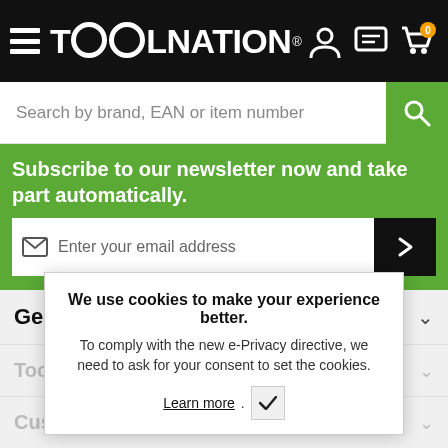TOOLNATION
Search by brand, EAN or item number
Subscribe to our newsletter now and take part automatically.
Enter your email address
General
Toolnation
Customer Service
Social
We use cookies to make your experience better. To comply with the new e-Privacy directive, we need to ask for your consent to set the cookies. Learn more.